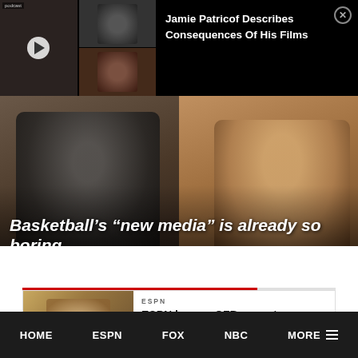[Figure (screenshot): Video thumbnail ad overlay showing Jamie Patricof with text title on black background and close button]
Jamie Patricof Describes Consequences Of His Films
[Figure (screenshot): Main article video thumbnail showing two people in a studio setting with overlay title about basketball new media]
Basketball’s “new media” is already so boring
THIS JUST IN — Zion Williamson missed 2021-22 season (foot)
[Figure (screenshot): ESPN news card thumbnail showing tennis or sports image]
ESPN
ESPN bumps CFB game to
HOME   ESPN   FOX   NBC   MORE